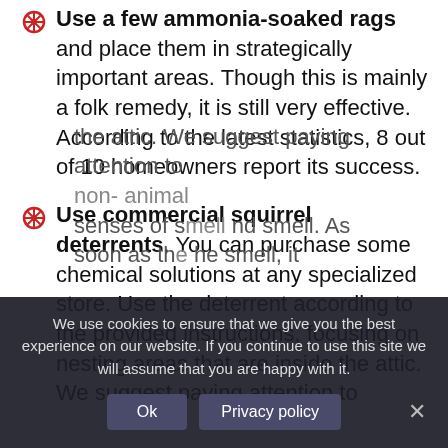Use a few ammonia-soaked rags and place them in strategically important areas. Though this is mainly a folk remedy, it is still very effective. According to the latest statistics, 8 out of 10 homeowners report its success.
Use commercial squirrel deterrents. You can purchase some chemical solutions at any specialized store. Use the deterrent according to the provided instructions, focusing on nesting areas that are inside the attic. We suggest paying attention to the animal senses of smell. As soon as the smell, it
We use cookies to ensure that we give you the best experience on our website. If you continue to use this site we will assume that you are happy with it.
Ok | Privacy policy